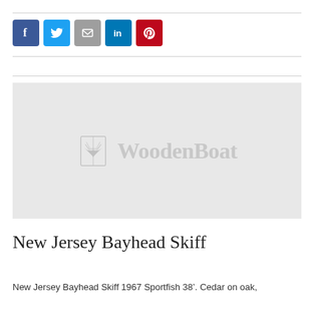[Figure (logo): Social media share buttons: Facebook (blue), Twitter (light blue), Email (gray), LinkedIn (dark blue), Pinterest (red)]
[Figure (logo): WoodenBoat magazine placeholder image with WoodenBoat logo (boat icon and wordmark) on light gray background]
New Jersey Bayhead Skiff
New Jersey Bayhead Skiff 1967 Sportfish 38′. Cedar on oak,